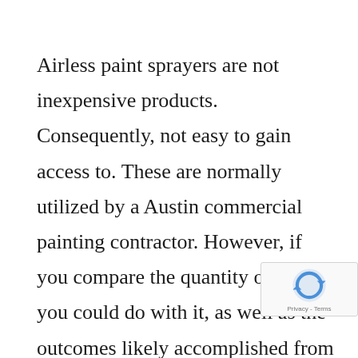Airless paint sprayers are not inexpensive products. Consequently, not easy to gain access to. These are normally utilized by a Austin commercial painting contractor. However, if you compare the quantity of job you could do with it, as well as the outcomes likely accomplished from it, after that the cost would certainly be the least aspect of concern.

The top quality of outcome delivered
[Figure (other): Google reCAPTCHA badge with spinning arrow logo and Privacy - Terms text]